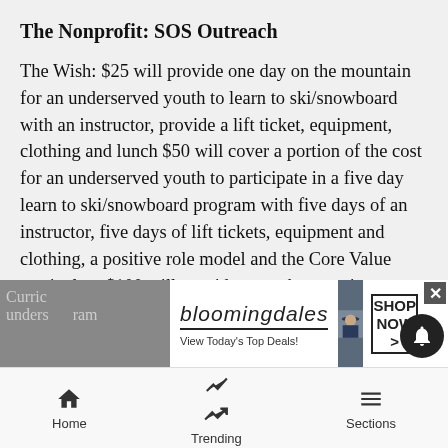The Nonprofit: SOS Outreach
The Wish: $25 will provide one day on the mountain for an underserved youth to learn to ski/snowboard with an instructor, provide a lift ticket, equipment, clothing and lunch $50 will cover a portion of the cost for an underserved youth to participate in a five day learn to ski/snowboard program with five days of an instructor, five days of lift tickets, equipment and clothing, a positive role model and the Core Value curriculum $100 will provide a youth a spot in our University program for a season which includes a season pass to a local mountain along with clothing and gear for the season, a mentor and the Core Value Curriculum ... underserved ... program
[Figure (screenshot): Bloomingdale's advertisement banner with photo of woman in hat, Shop Now button, and View Today's Top Deals tagline. Close button (x) in top right corner.]
Home   Trending   Sections